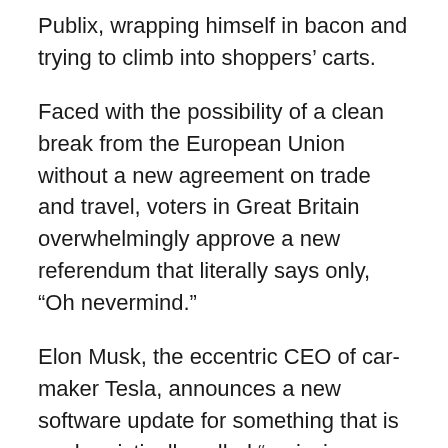Publix, wrapping himself in bacon and trying to climb into shoppers' carts.
Faced with the possibility of a clean break from the European Union without a new agreement on trade and travel, voters in Great Britain overwhelmingly approve a new referendum that literally says only, “Oh nevermind.”
Elon Musk, the eccentric CEO of car-maker Tesla, announces a new software update for something that is euphemistically called “emissions testing mode,” a built-in practical joke that can make the car emit farting noises when a turn signal is on. The car owner can choose from six different tooting sounds, including “Short Shorts Ripper,” “Ludicrous Fart” and “Neurastink.” … Oh, wait, nevermind, that actually happened in December 2018. (Seriously, it really happened. You can Google it if you